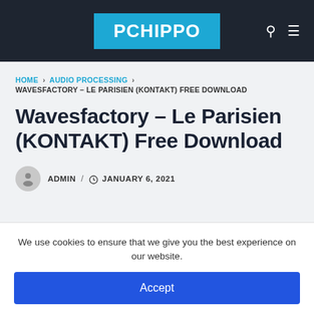PCHIPPO
HOME › AUDIO PROCESSING › WAVESFACTORY – LE PARISIEN (KONTAKT) FREE DOWNLOAD
Wavesfactory – Le Parisien (KONTAKT) Free Download
ADMIN / JANUARY 6, 2021
We use cookies to ensure that we give you the best experience on our website.
Accept